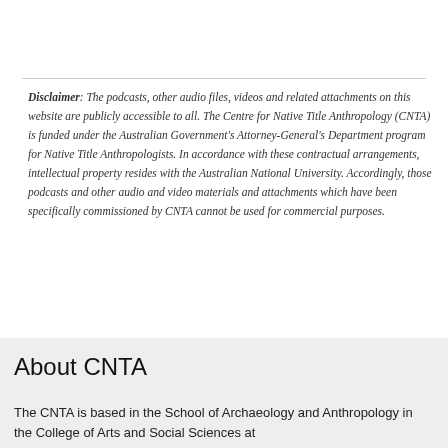Disclaimer: The podcasts, other audio files, videos and related attachments on this website are publicly accessible to all. The Centre for Native Title Anthropology (CNTA) is funded under the Australian Government's Attorney-General's Department program for Native Title Anthropologists. In accordance with these contractual arrangements, intellectual property resides with the Australian National University. Accordingly, those podcasts and other audio and video materials and attachments which have been specifically commissioned by CNTA cannot be used for commercial purposes.
About CNTA
The CNTA is based in the School of Archaeology and Anthropology in the College of Arts and Social Sciences at